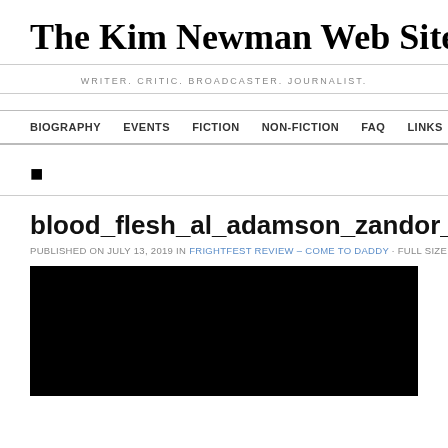The Kim Newman Web Site
WRITER. CRITIC. BROADCASTER. JOURNALIST.
BIOGRAPHY  EVENTS  FICTION  NON-FICTION  FAQ  LINKS  AWARDS
■
blood_flesh_al_adamson_zandor_vorkov
PUBLISHED ON JULY 13, 2019 IN FRIGHTFEST REVIEW – COME TO DADDY · FULL SIZE IS 1…
[Figure (photo): A dark/black image, appears to be a movie still or photograph with very dark exposure]